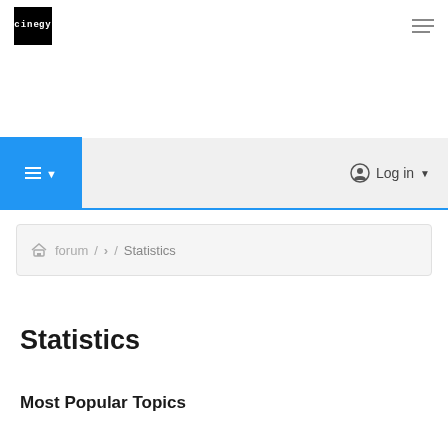cinegy (logo) | hamburger menu
[Figure (screenshot): Navigation toolbar with blue hamburger menu button on left and Log in button on right]
forum / > / Statistics
Statistics
Most Popular Topics